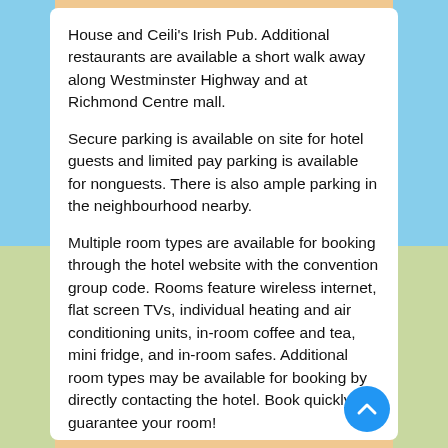House and Ceili's Irish Pub. Additional restaurants are available a short walk away along Westminster Highway and at Richmond Centre mall.
Secure parking is available on site for hotel guests and limited pay parking is available for nonguests. There is also ample parking in the neighbourhood nearby.
Multiple room types are available for booking through the hotel website with the convention group code. Rooms feature wireless internet, flat screen TVs, individual heating and air conditioning units, in-room coffee and tea, mini fridge, and in-room safes. Additional room types may be available for booking by directly contacting the hotel. Book quickly to guarantee your room!
We look forward to seeing everyone at the Executive Airport Hotel in January!